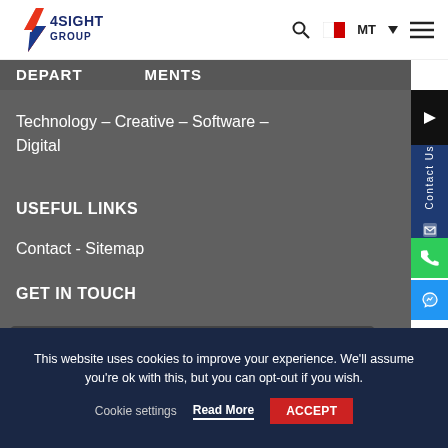[Figure (logo): 4Sight Group logo with lightning bolt icon in red and orange, company name in dark blue]
4Sight Group — MT (Malta flag)
DEPARTMENTS
Technology – Creative – Software – Digital
USEFUL LINKS
Contact - Sitemap
GET IN TOUCH
Contact Us
This website uses cookies to improve your experience. We'll assume you're ok with this, but you can opt-out if you wish.
Cookie settings   Read More   ACCEPT